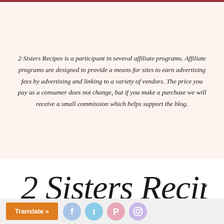2 Sisters Recipes is a participant in several affiliate programs. Affiliate programs are designed to provide a means for sites to earn advertising fees by advertising and linking to a variety of vendors. The price you pay as a consumer does not change, but if you make a purchase we will receive a small commission which helps support the blog.
[Figure (logo): 2 Sisters Recipes by Anna & Liz cursive script logo]
[Figure (other): Footer bar with orange Translate button and social media icons for Facebook, Twitter, Pinterest, and Instagram]